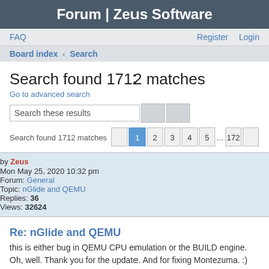Forum | Zeus Software
FAQ  Register  Login
Board index › Search
Search found 1712 matches
Go to advanced search
Search these results
Search found 1712 matches  1 2 3 4 5 ... 172
by Zeus
Mon May 25, 2020 10:32 pm
Forum: General
Topic: nGlide and QEMU
Replies: 36
Views: 32624
Re: nGlide and QEMU
this is either bug in QEMU CPU emulation or the BUILD engine. Oh, well. Thank you for the update. And for fixing Montezuma. :) OpenGlide does not advertise 2 TMU but dgVoodoo2 does. Are you sure about that? Then I need to do some further research. I was always convinced there was no way to run it p...